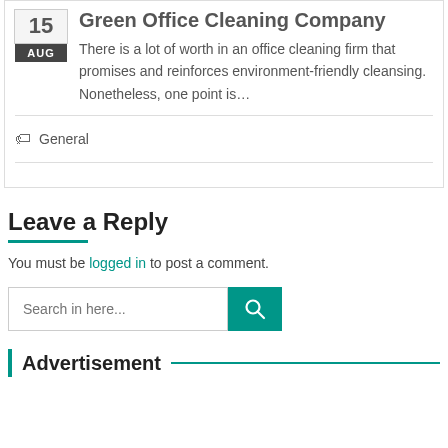Green Office Cleaning Company
There is a lot of worth in an office cleaning firm that promises and reinforces environment-friendly cleansing. Nonetheless, one point is...
General
Leave a Reply
You must be logged in to post a comment.
[Figure (other): Search input field with teal search button containing magnifying glass icon]
Advertisement